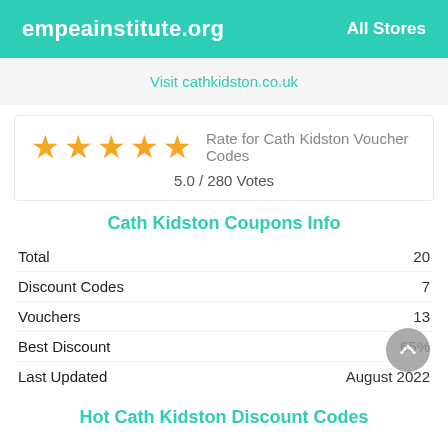empeainstitute.org | All Stores
Visit cathkidston.co.uk
[Figure (other): Five gold star rating with text 'Rate for Cath Kidston Voucher Codes' and '5.0 / 280 Votes']
Cath Kidston Coupons Info
|  |  |
| --- | --- |
| Total | 20 |
| Discount Codes | 7 |
| Vouchers | 13 |
| Best Discount | 65% |
| Last Updated | August 2022 |
Hot Cath Kidston Discount Codes